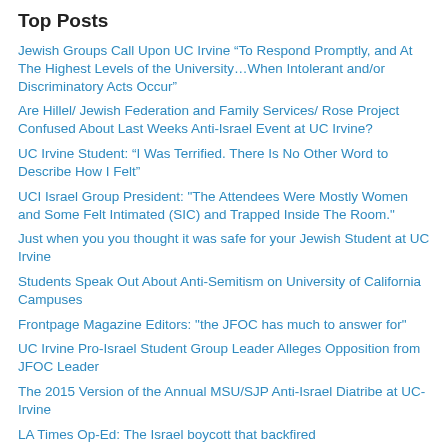Top Posts
Jewish Groups Call Upon UC Irvine “To Respond Promptly, and At The Highest Levels of the University…When Intolerant and/or Discriminatory Acts Occur”
Are Hillel/ Jewish Federation and Family Services/ Rose Project Confused About Last Weeks Anti-Israel Event at UC Irvine?
UC Irvine Student: “I Was Terrified. There Is No Other Word to Describe How I Felt”
UCI Israel Group President: "The Attendees Were Mostly Women and Some Felt Intimated (SIC) and Trapped Inside The Room."
Just when you you thought it was safe for your Jewish Student at UC Irvine
Students Speak Out About Anti-Semitism on University of California Campuses
Frontpage Magazine Editors: "the JFOC has much to answer for"
UC Irvine Pro-Israel Student Group Leader Alleges Opposition from JFOC Leader
The 2015 Version of the Annual MSU/SJP Anti-Israel Diatribe at UC-Irvine
LA Times Op-Ed: The Israel boycott that backfired